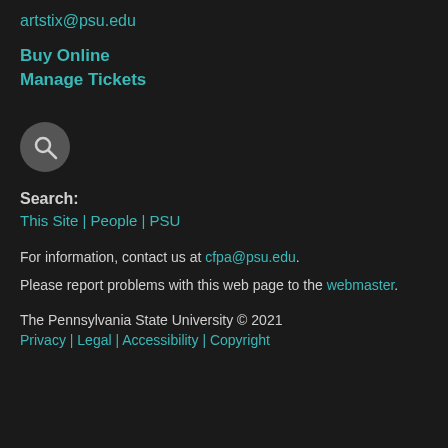artstix@psu.edu
Buy Online
Manage Tickets
[Figure (illustration): Search icon: magnifying glass in a circular grey button]
Search:
This Site | People | PSU
For information, contact us at cfpa@psu.edu. Please report problems with this web page to the webmaster.
The Pennsylvania State University © 2021 Privacy | Legal | Accessibility | Copyright